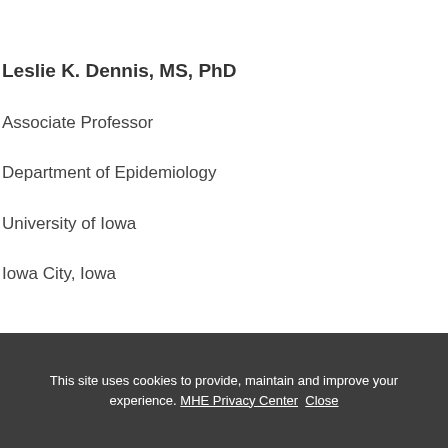Leslie K. Dennis, MS, PhD
Associate Professor
Department of Epidemiology
University of Iowa
Iowa City, Iowa
This site uses cookies to provide, maintain and improve your experience. MHE Privacy Center   Close